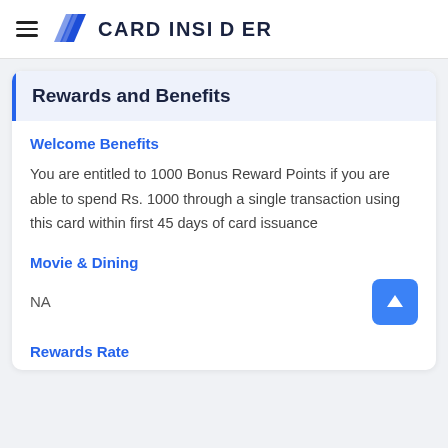CARD INSIDER
Rewards and Benefits
Welcome Benefits
You are entitled to 1000 Bonus Reward Points if you are able to spend Rs. 1000 through a single transaction using this card within first 45 days of card issuance
Movie & Dining
NA
Rewards Rate